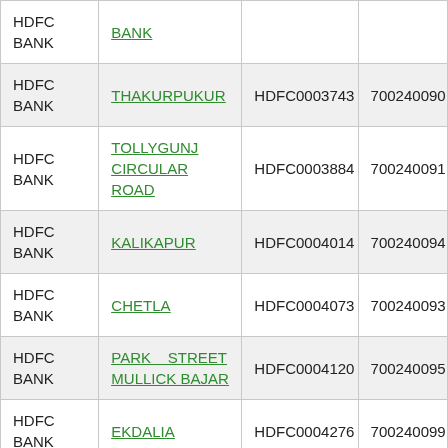| Bank | Branch | IFSC Code | MICR Code |
| --- | --- | --- | --- |
| HDFC BANK | BANK |  |  |
| HDFC BANK | THAKURPUKUR | HDFC0003743 | 700240090 |
| HDFC BANK | TOLLYGUNJ CIRCULAR ROAD | HDFC0003884 | 700240091 |
| HDFC BANK | KALIKAPUR | HDFC0004014 | 700240094 |
| HDFC BANK | CHETLA | HDFC0004073 | 700240093 |
| HDFC BANK | PARK STREET MULLICK BAJAR | HDFC0004120 | 700240095 |
| HDFC BANK | EKDALIA | HDFC0004276 | 700240099 |
| HDFC BANK | BAGHAJATIN | HDFC0004283 | 700240097 |